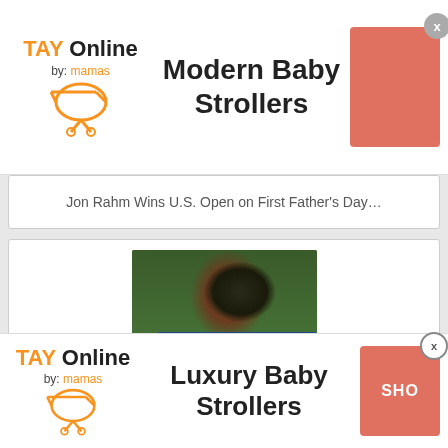[Figure (screenshot): TAY Online by mamas logo with stroller icon and orange color scheme]
Modern Baby Strollers
Jon Rahm Wins U.S. Open on First Father's Day…
[Figure (photo): Photo of a female athlete in blue uniform looking sideways]
30 Greatest Female Athletes Of All Time
[Figure (photo): Partial photo of another article, showing a person in dark clothing]
[Figure (screenshot): TAY Online by mamas logo with stroller icon and orange color scheme (bottom ad)]
Luxury Baby Strollers